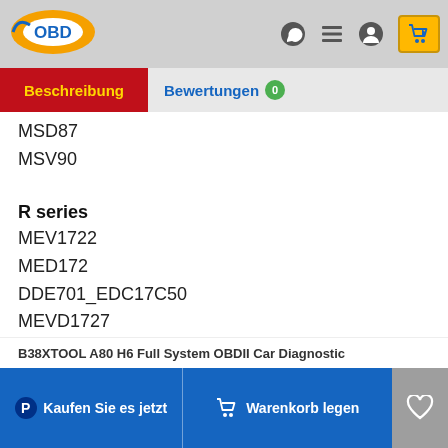[Figure (logo): OBD logo with orange background and blue text]
Beschreibung | Bewertungen 0
MSD87
MSV90
R series
MEV1722
MED172
DDE701_EDC17C50
MEVD1727
M series
BMSX
B38XTOOL A80 H6 Full System OBDII Car Diagnostic
Kaufen Sie es jetzt | Warenkorb legen